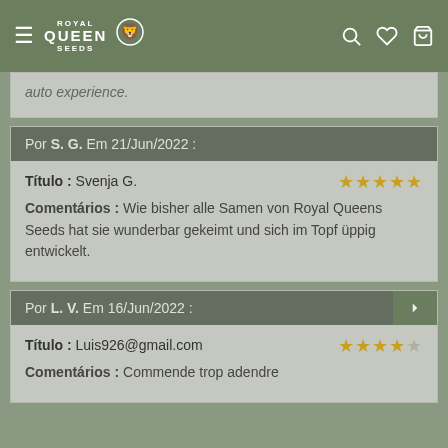Royal Queen Seeds navigation bar with hamburger menu, logo, search, wishlist, and cart icons
auto experience.
Por S. G. Em 21/Jun/2022 :
Título : Svenja G.
Comentários : Wie bisher alle Samen von Royal Queens Seeds hat sie wunderbar gekeimt und sich im Topf üppig entwickelt.
Por L. V. Em 16/Jun/2022 :
Título : Luis926@gmail.com
Comentários : Commende trop adendre